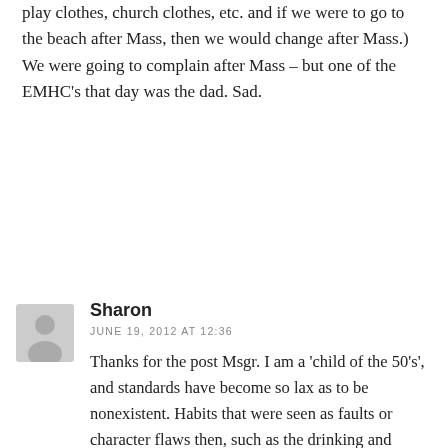play clothes, church clothes, etc. and if we were to go to the beach after Mass, then we would change after Mass.) We were going to complain after Mass – but one of the EMHC's that day was the dad. Sad.
[Figure (illustration): Generic user avatar icon — gray silhouette of a person on a light gray square background]
Sharon
JUNE 19, 2012 AT 12:36
Thanks for the post Msgr. I am a 'child of the 50's', and standards have become so lax as to be nonexistent. Habits that were seen as faults or character flaws then, such as the drinking and partying depicted in this commercial, are things that are celebrated and highly desirable if one wants to be accepted in social circles today. The people who produced the commercial didn't